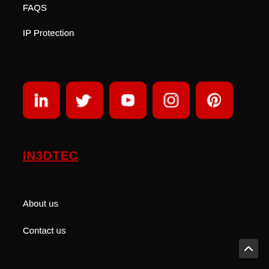FAQS
IP Protection
[Figure (infographic): Five red rounded square social media icons in a row: LinkedIn, Twitter, YouTube, Instagram, Pinterest]
IN3DTEC
About us
Contact us
^